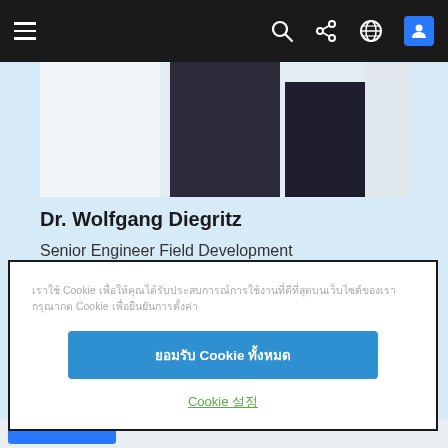Navigation bar with hamburger menu, search, share, globe, and user icons
[Figure (photo): Partial photo of a person showing lower body in dark pants against a light background]
Dr. Wolfgang Diegritz
Senior Engineer Field Development
E&E, Europe, Celanese
Cookie notice text in Thai script explaining cookie usage policy
ยอมรับ Cookie ทั้งหมด
Cookie 설정